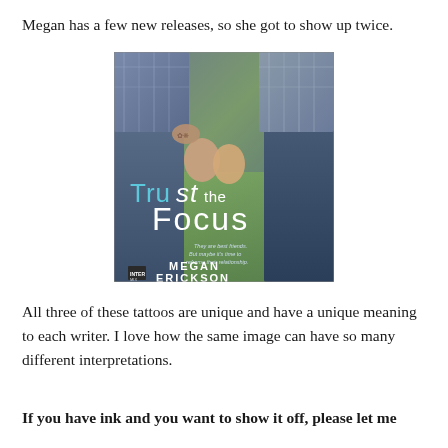Megan has a few new releases, so she got to show up twice.
[Figure (photo): Book cover of 'Trust the Focus' by Megan Erickson, showing two people holding hands with tattoos visible, published by Intermix.]
All three of these tattoos are unique and have a unique meaning to each writer. I love how the same image can have so many different interpretations.
If you have ink and you want to show it off, please let me